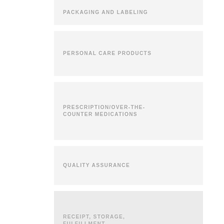PACKAGING AND LABELING
PERSONAL CARE PRODUCTS
PRESCRIPTION/OVER-THE-COUNTER MEDICATIONS
QUALITY ASSURANCE
RECEIPT, STORAGE, FULFILLMENT
REGULATORY COMPLIANCE
RESOURCES
REVERSE LOGISTICS